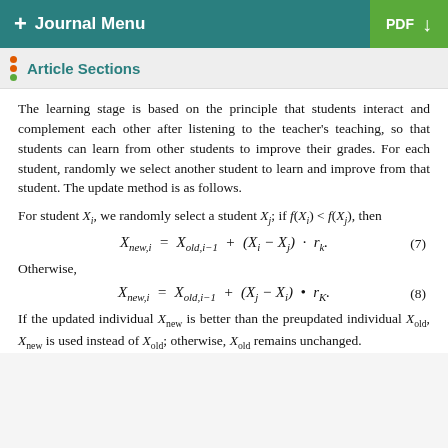+ Journal Menu | PDF ↓
Article Sections
The learning stage is based on the principle that students interact and complement each other after listening to the teacher's teaching, so that students can learn from other students to improve their grades. For each student, randomly we select another student to learn and improve from that student. The update method is as follows.
For student X_i, we randomly select a student X_j; if f(X_i) < f(X_j), then
Otherwise,
If the updated individual X_new is better than the preupdated individual X_old, X_new is used instead of X_old; otherwise, X_old remains unchanged.